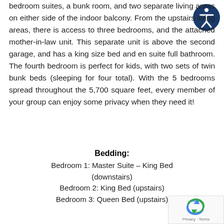bedroom suites, a bunk room, and two separate living areas on either side of the indoor balcony. From the upstairs living areas, there is access to three bedrooms, and the attached mother-in-law unit. This separate unit is above the second garage, and has a king size bed and en suite full bathroom. The fourth bedroom is perfect for kids, with two sets of twin bunk beds (sleeping for four total). With the 5 bedrooms spread throughout the 5,700 square feet, every member of your group can enjoy some privacy when they need it!
[Figure (illustration): Accessibility icon — white figure on dark blue circle background]
Bedding:
Bedroom 1: Master Suite – King Bed (downstairs)
Bedroom 2: King Bed (upstairs)
Bedroom 3: Queen Bed (upstairs)
[Figure (logo): reCAPTCHA badge with Privacy and Terms links]